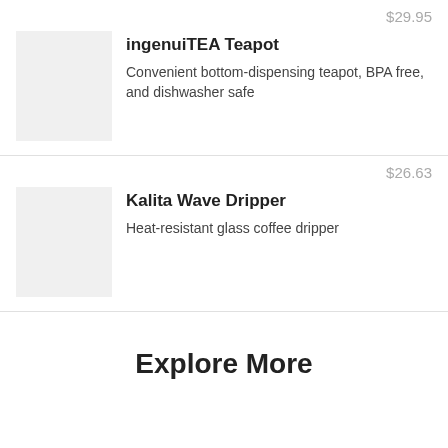$29.95
ingenuiTEA Teapot
Convenient bottom-dispensing teapot, BPA free, and dishwasher safe
$26.63
Kalita Wave Dripper
Heat-resistant glass coffee dripper
Explore More